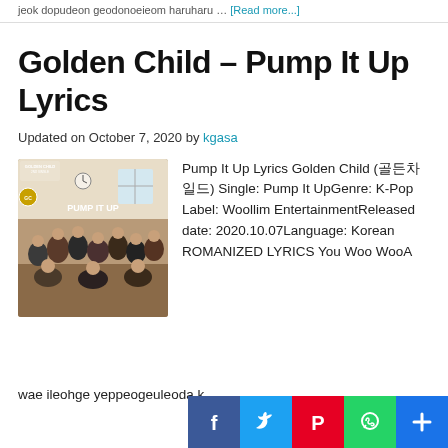jeok dopudeon geodonoeieom haruharu … [Read more...]
Golden Child – Pump It Up Lyrics
Updated on October 7, 2020 by kgasa
[Figure (photo): Golden Child Pump It Up album cover showing group photo]
Pump It Up Lyrics Golden Child (골든차일드) Single: Pump It UpGenre: K-Pop Label: Woollim EntertainmentReleased date: 2020.10.07Language: Korean ROMANIZED LYRICS You Woo WooA
wae ileohge yeppeogeuleoda k